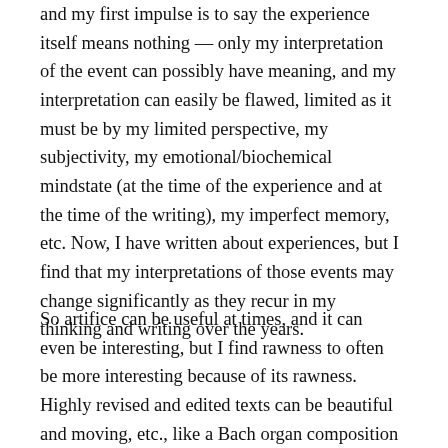and my first impulse is to say the experience itself means nothing — only my interpretation of the event can possibly have meaning, and my interpretation can easily be flawed, limited as it must be by my limited perspective, my subjectivity, my emotional/biochemical mindstate (at the time of the experience and at the time of the writing), my imperfect memory, etc. Now, I have written about experiences, but I find that my interpretations of those events may change significantly as they recur in my thinking and writing over the years.
So artifice can be useful at times, and it can even be interesting, but I find rawness to often be more interesting because of its rawness. Highly revised and edited texts can be beautiful and moving, etc., like a Bach organ composition (not sure why, but that's what my